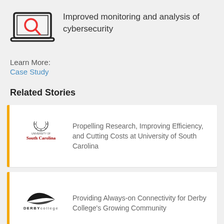[Figure (illustration): Laptop computer icon with a red magnifying glass on the screen, representing cybersecurity monitoring]
Improved monitoring and analysis of cybersecurity
Learn More:
Case Study
Related Stories
[Figure (logo): University of South Carolina logo with crest and red text]
Propelling Research, Improving Efficiency, and Cutting Costs at University of South Carolina
[Figure (logo): Derby College logo with stylized bird graphic and text]
Providing Always-on Connectivity for Derby College's Growing Community